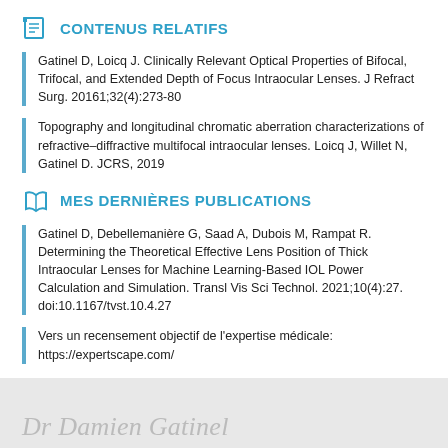CONTENUS RELATIFS
Gatinel D, Loicq J. Clinically Relevant Optical Properties of Bifocal, Trifocal, and Extended Depth of Focus Intraocular Lenses. J Refract Surg. 20161;32(4):273-80
Topography and longitudinal chromatic aberration characterizations of refractive–diffractive multifocal intraocular lenses. Loicq J, Willet N, Gatinel D. JCRS, 2019
MES DERNIÈRES PUBLICATIONS
Gatinel D, Debellemanière G, Saad A, Dubois M, Rampat R. Determining the Theoretical Effective Lens Position of Thick Intraocular Lenses for Machine Learning-Based IOL Power Calculation and Simulation. Transl Vis Sci Technol. 2021;10(4):27. doi:10.1167/tvst.10.4.27
Vers un recensement objectif de l'expertise médicale: https://expertscape.com/
Dr Damien Gatinel